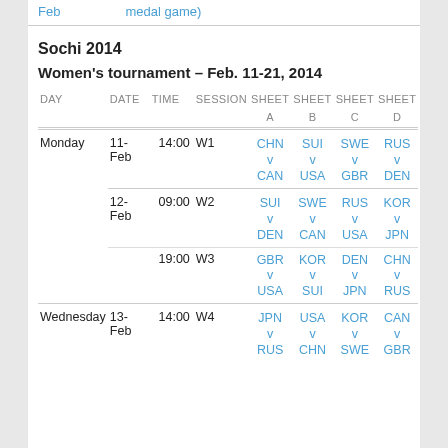Feb  medal game)
Sochi 2014
Women's tournament – Feb. 11-21, 2014
| DAY | DATE | TIME | SESSION | SHEET A | SHEET B | SHEET C | SHEET D |
| --- | --- | --- | --- | --- | --- | --- | --- |
| Monday | 11-Feb | 14:00 | W1 | CHN v CAN | SUI v USA | SWE v GBR | RUS v DEN |
| Tuesday | 12-Feb | 09:00 | W2 | SUI v DEN | SWE v CAN | RUS v USA | KOR v JPN |
|  |  | 19:00 | W3 | GBR v USA | KOR v SUI | DEN v JPN | CHN v RUS |
| Wednesday | 13-Feb | 14:00 | W4 | JPN v RUS | USA v CHN | KOR v SWE | CAN v GBR |